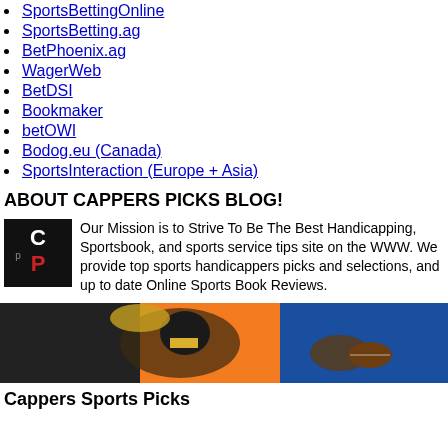SportsBettingOnline
SportsBetting.ag
BetPhoenix.ag
WagerWeb
BetDSI
Bookmaker
betOWI
Bodog.eu (Canada)
SportsInteraction (Europe + Asia)
ABOUT CAPPERS PICKS BLOG!
[Figure (logo): Cappers Picks CP logo - black background with red and white text]
Our Mission is to Strive To Be The Best Handicapping, Sportsbook, and sports service tips site on the WWW. We provide top sports handicappers picks and selections, and up to date Online Sports Book Reviews.
[Figure (photo): Football player catching or holding a football, orange and blue background]
Cappers Sports Picks